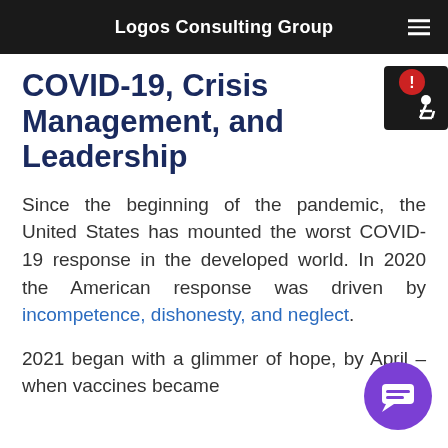Logos Consulting Group
COVID-19, Crisis Management, and Leadership
Since the beginning of the pandemic, the United States has mounted the worst COVID-19 response in the developed world. In 2020 the American response was driven by incompetence, dishonesty, and neglect.
2021 began with a glimmer of hope, by April – when vaccines became